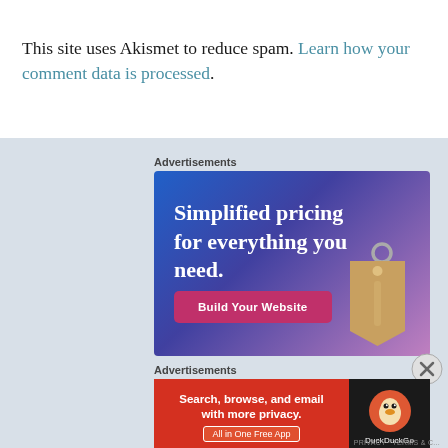This site uses Akismet to reduce spam. Learn how your comment data is processed.
Advertisements
[Figure (illustration): Advertisement banner for website builder: 'Simplified pricing for everything you need.' with a 'Build Your Website' button and a price tag graphic.]
[Figure (illustration): Close/dismiss button circle with X]
Advertisements
[Figure (illustration): DuckDuckGo advertisement banner: 'Search, browse, and email with more privacy. All in One Free App' with DuckDuckGo logo on dark background.]